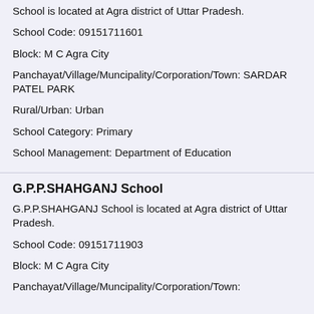School is located at Agra district of Uttar Pradesh.
School Code: 09151711601
Block: M C Agra City
Panchayat/Village/Muncipality/Corporation/Town: SARDAR PATEL PARK
Rural/Urban: Urban
School Category: Primary
School Management: Department of Education
G.P.P.SHAHGANJ School
G.P.P.SHAHGANJ School is located at Agra district of Uttar Pradesh.
School Code: 09151711903
Block: M C Agra City
Panchayat/Village/Muncipality/Corporation/Town: